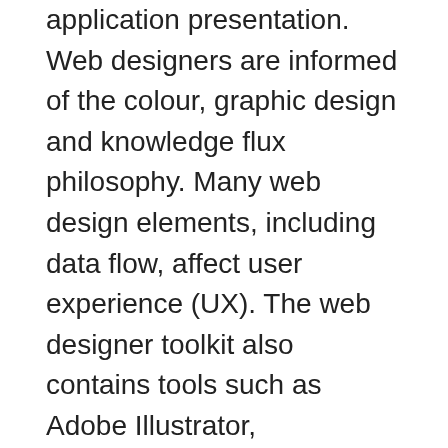A web designer works on a website or a web application presentation. Web designers are informed of the colour, graphic design and knowledge flux philosophy. Many web design elements, including data flow, affect user experience (UX). The web designer toolkit also contains tools such as Adobe Illustrator, Photoshop, and other wireframing software.
It should be well known as a web designer, HTML, CSS, and JavaScript. However, some roles of web designers do not require such coding skills.